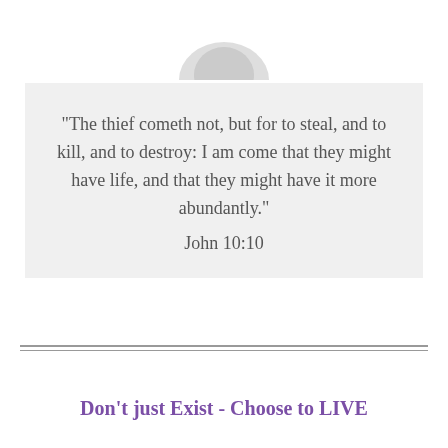[Figure (illustration): Partial grayscale image of a bird or animal at the top of the page, cropped]
"The thief cometh not, but for to steal, and to kill, and to destroy: I am come that they might have life, and that they might have it more abundantly." John 10:10
Don't just Exist - Choose to LIVE